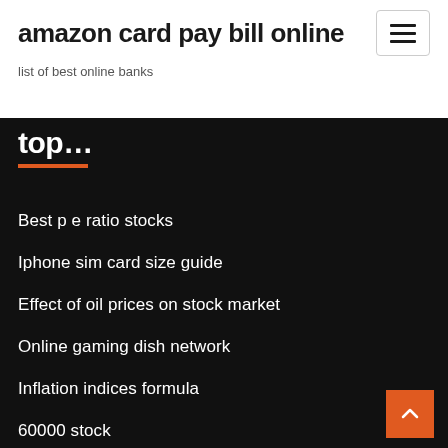amazon card pay bill online
list of best online banks
top…
Best p e ratio stocks
Iphone sim card size guide
Effect of oil prices on stock market
Online gaming dish network
Inflation indices formula
60000 stock
At&t bond cusip
Open a bank account online santander
Amazon trade in uk